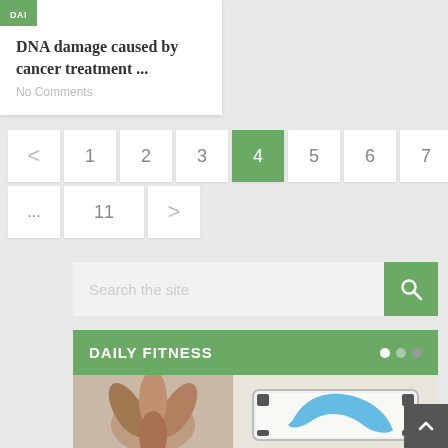DNA damage caused by cancer treatment ...
No Comments
< 1 2 3 4 5 6 7 ... 11 >
Search the site
DAILY FITNESS
[Figure (photo): Hands joined in a circle forming a teamwork gesture]
[Figure (photo): Weighing scale with a blue measuring tape on it]